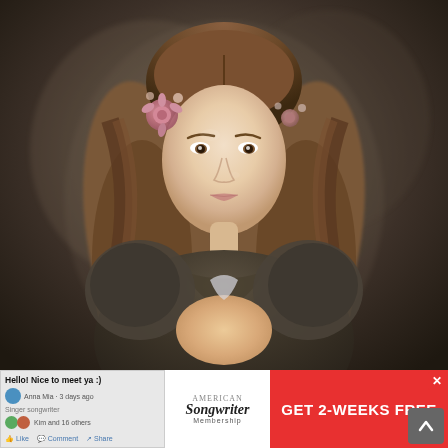[Figure (photo): Portrait photograph of a young woman with long wavy brown hair, wearing flowers (pink roses and small white flowers) in her hair, dressed in a dark grey/brown period-style blouse with puffed sleeves. She is looking directly at the camera with a neutral expression, hands clasped together at chest level. The background is a mottled dark green/brown studio backdrop.]
[Figure (screenshot): Advertisement banner at bottom of page. Left portion shows a social media post screenshot with text 'Hello! Nice to meet ya :)' and user avatars. Right portion shows an American Songwriter Membership advertisement with red button reading 'GET 2-WEEKS FREE'. An X close button appears in the top right corner of the ad.]